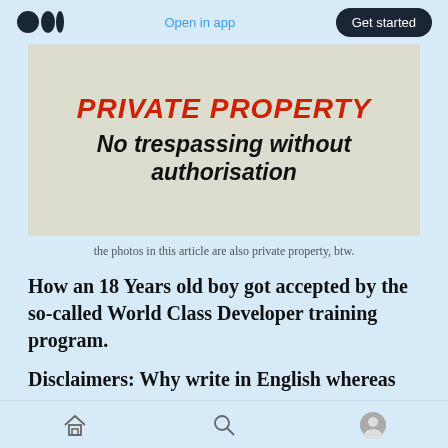Open in app | Get started
[Figure (photo): A sign reading 'PRIVATE PROPERTY' in red italic bold text, and 'No trespassing without authorisation' in large bold black italic text on a light background.]
the photos in this article are also private property, btw.
How an 18 Years old boy got accepted by the so-called World Class Developer training program.
Disclaimers: Why write in English whereas you
Home | Search | Profile